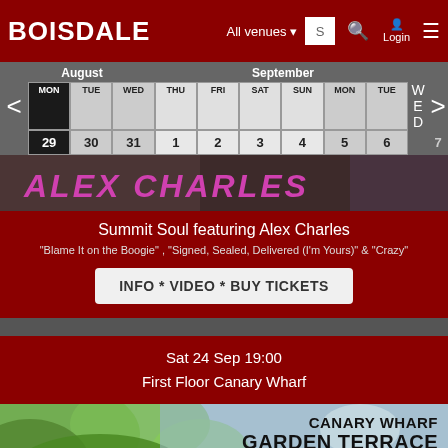BOISDALE  All venues  S  Login
| MON | TUE | WED | THU | FRI | SAT | SUN | MON | TUE |
| --- | --- | --- | --- | --- | --- | --- | --- | --- |
| 29 | 30 | 31 | 1 | 2 | 3 | 4 | 5 | 6 |
[Figure (photo): Partial image of ALEX CHARLES text in pink/magenta on dark background]
Summit Soul featuring Alex Charles
"Blame It on the Boogie" , "Signed, Sealed, Delivered (I'm Yours)" & "Crazy"
INFO * VIDEO * BUY TICKETS
Sat 24 Sep 19:00
First Floor Canary Wharf
[Figure (photo): Canary Wharf Garden Terrace image with leaves and text overlay]